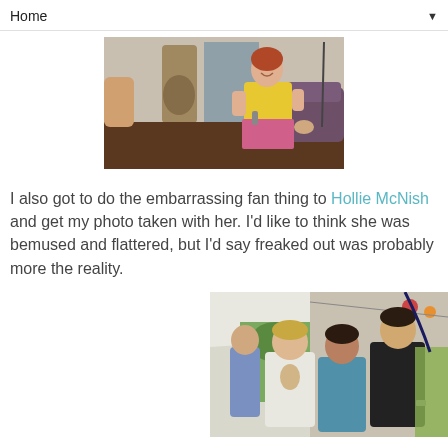Home ▼
[Figure (photo): A woman with red hair in a yellow sleeveless top sitting on a couch on a stage, holding a microphone, with a guitar and door behind her]
I also got to do the embarrassing fan thing to Hollie McNish and get my photo taken with her. I'd like to think she was bemused and flattered, but I'd say freaked out was probably more the reality.
[Figure (photo): Group of people posing for a photo inside a tent at what appears to be a festival]